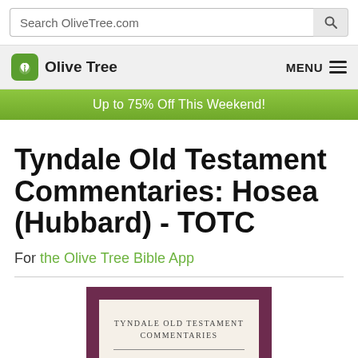Search OliveTree.com
Olive Tree  MENU
Up to 75% Off This Weekend!
Tyndale Old Testament Commentaries: Hosea (Hubbard) - TOTC
For the Olive Tree Bible App
[Figure (illustration): Book cover for Tyndale Old Testament Commentaries (TOTC) showing a dark maroon/purple outer border with cream interior. Text reads 'TYNDALE OLD TESTAMENT COMMENTARIES' and 'TOTC' in a bordered badge.]